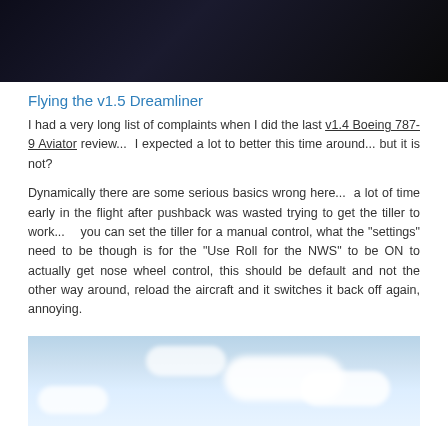[Figure (photo): Dark interior photo of aircraft cockpit or cabin, very dark tones]
Flying the v1.5 Dreamliner
I had a very long list of complaints when I did the last v1.4 Boeing 787-9 Aviator review...  I expected a lot to better this time around... but it is not?
Dynamically there are some serious basics wrong here...  a lot of time early in the flight after pushback was wasted trying to get the tiller to work...    you can set the tiller for a manual control, what the "settings" need to be though is for the "Use Roll for the NWS" to be ON to actually get nose wheel control, this should be default and not the other way around, reload the aircraft and it switches it back off again, annoying.
[Figure (photo): Flight simulator screenshot showing blue sky with white clouds]